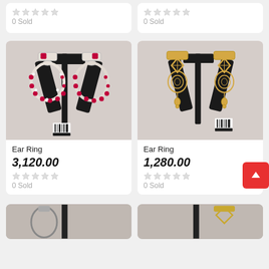[Figure (other): Top partial product card left - star rating and 0 Sold text]
[Figure (other): Top partial product card right - star rating and 0 Sold text]
[Figure (photo): Pink gemstone chandbali earrings on black display stand]
Ear Ring
3,120.00
0 Sold
[Figure (photo): Gold filigree chandelier earrings on black display stand]
Ear Ring
1,280.00
0 Sold
[Figure (photo): Bottom partial product card left - earrings on display]
[Figure (photo): Bottom partial product card right - earrings on display]